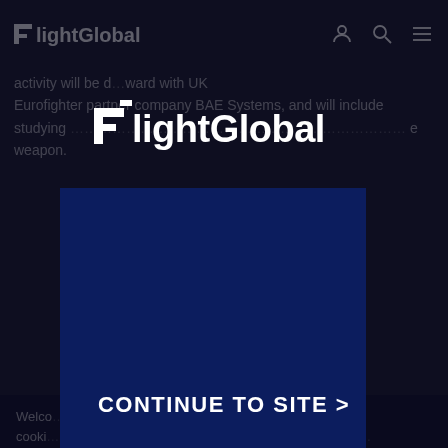FlightGlobal
activity will be d... ward with UK Eurofighter partner company BAE Systems, and will include studying... e weapon.
Welco... cooki... perso... you are ac... learn more
[Figure (logo): FlightGlobal logo white on dark blue modal overlay box]
CONTINUE TO SITE >